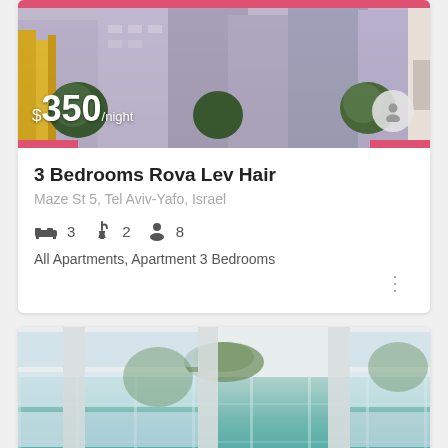[Figure (photo): Exterior photo of an apartment building in Tel Aviv with yellow facade details and trees, showing price $350/night overlay]
3 Bedrooms Rova Lev Hair
Maze St 5, Tel Aviv-Yafo, Israel
3 bedrooms, 2 bathrooms, 8 guests
All Apartments, Apartment 3 Bedrooms
[Figure (photo): Interior photo showing an indoor pool area with floor-to-ceiling windows and teal/green water]